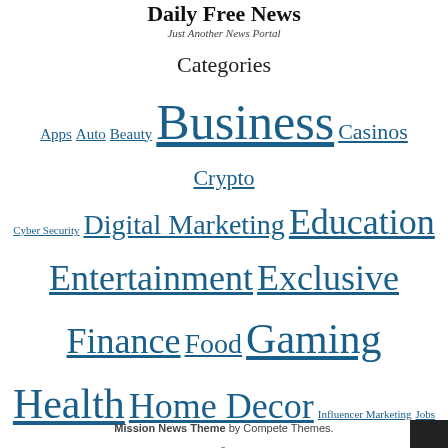Daily Free News
Just Another News Portal
Categories
Apps Auto Beauty Business Casinos Crypto Cyber Security Digital Marketing Education Entertainment Exclusive Finance Food Gaming Health Home Decor Influencer Marketing Jobs & Career Law Lifestyle Opinion Pet Real Estate SEO Shopping Sports Technology Travel World
Mission News Theme by Compete Themes.